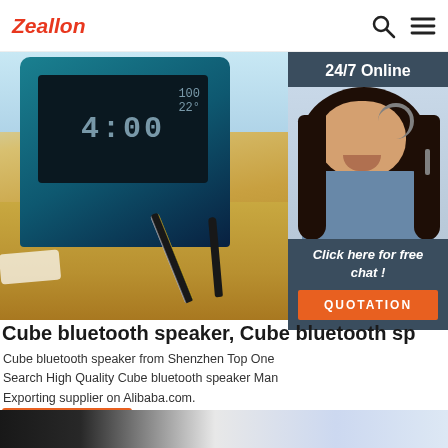Zeallon
[Figure (photo): Hero product photo: a digital clock radio/speaker with teal frame showing time and temperature, on a wooden desk with pens. Overlay shows a 24/7 Online chat widget with a customer service representative wearing a headset, smiling. Widget includes 'Click here for free chat!' text and an orange QUOTATION button.]
Cube bluetooth speaker, Cube bluetooth sp
Cube bluetooth speaker from Shenzhen Top One
Search High Quality Cube bluetooth speaker Man
Exporting supplier on Alibaba.com.
[Figure (screenshot): Partially visible bottom strip showing what appears to be another product or webpage, dark on left transitioning to lighter tones on right.]
Get Price